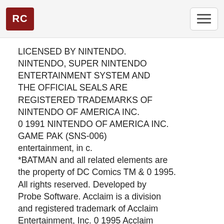RC
LICENSED BY NINTENDO. NINTENDO, SUPER NINTENDO ENTERTAINMENT SYSTEM AND THE OFFICIAL SEALS ARE REGISTERED TRADEMARKS OF NINTENDO OF AMERICA INC. 0 1991 NINTENDO OF AMERICA INC. GAME PAK (SNS-006) entertainment, in c. *BATMAN and all related elements are the property of DC Comics TM & 0 1995. All rights reserved. Developed by Probe Software. Acclaim is a division and registered trademark of Acclaim Entertainment, Inc. 0 1995 Acclaim Entertainment, Inc. All rights reserved. FOR SALE, RENTAL AND USE ONLY IN USA, CANADA, MEXICO AND LATIN AMERICA